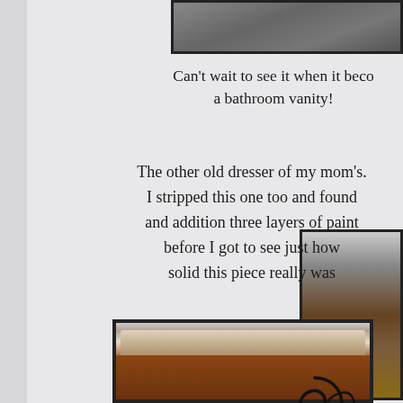[Figure (photo): Partial view of a textured surface photo at the top of the page, partially cropped]
Can't wait to see it when it beco... a bathroom vanity!
The other old dresser of my mom's. I stripped this one too and found and addition three layers of paint before I got to see just how solid this piece really was
[Figure (photo): Partial side photo of a dresser or furniture piece]
[Figure (photo): Photo of a wooden dresser top showing rich brown wood grain]